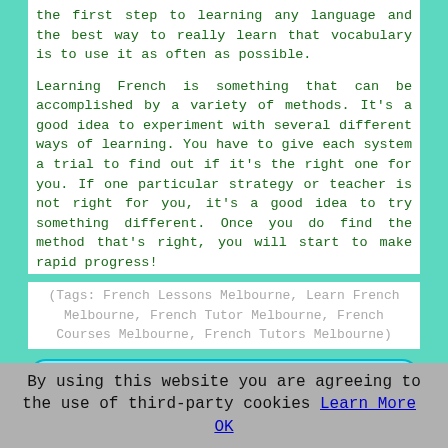the first step to learning any language and the best way to really learn that vocabulary is to use it as often as possible.
Learning French is something that can be accomplished by a variety of methods. It's a good idea to experiment with several different ways of learning. You have to give each system a trial to find out if it's the right one for you. If one particular strategy or teacher is not right for you, it's a good idea to try something different. Once you do find the method that's right, you will start to make rapid progress!
(Tags: French Lessons Melbourne, Learn French Melbourne, French Tutor Melbourne, French Courses Melbourne, French Tutors Melbourne)
[Figure (other): Cyan rounded button with bold red text reading 'Enquire About Lessons Here >>>']
You can have French lessons Melbourne and also in: Lount, Castle Donington, Kings Newton, Swarkestone, Diseworth, Stanton by Bridge, Wilson, Isley Walton, Breedon on the
By using this website you are agreeing to the use of third-party cookies Learn More  OK